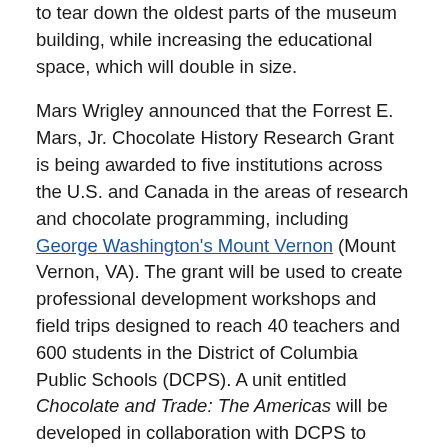to tear down the oldest parts of the museum building, while increasing the educational space, which will double in size.
Mars Wrigley announced that the Forrest E. Mars, Jr. Chocolate History Research Grant is being awarded to five institutions across the U.S. and Canada in the areas of research and chocolate programming, including George Washington's Mount Vernon (Mount Vernon, VA). The grant will be used to create professional development workshops and field trips designed to reach 40 teachers and 600 students in the District of Columbia Public Schools (DCPS). A unit entitled Chocolate and Trade: The Americas will be developed in collaboration with DCPS to support and enhance the current 6th grade social studies curriculum. Students will learn about the history of chocolate.
Citizens Bank of Kansas will provide scholarships to eight students to experience hands-on STEAM learning at a camp offered by the Cosmosphere (Hutchinson, KS).